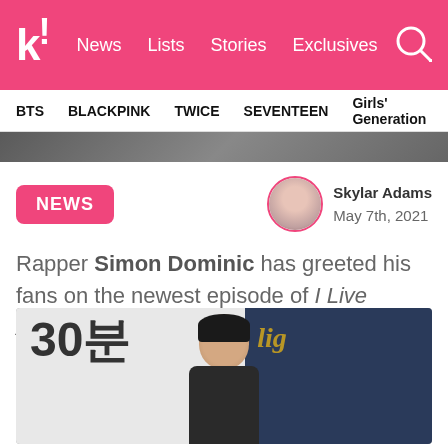k! News  Lists  Stories  Exclusives
BTS  BLACKPINK  TWICE  SEVENTEEN  Girls' Generation
[Figure (photo): Partial hero image of a person at the top]
NEWS
Skylar Adams
May 7th, 2021
Rapper Simon Dominic has greeted his fans on the newest episode of I Live Alone.
[Figure (photo): Photo of Simon Dominic at an event with Korean text 30분 in the background]